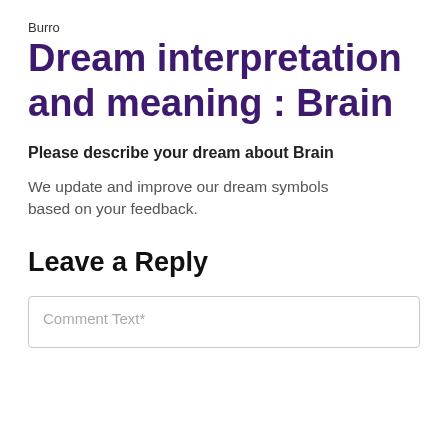Burro
Dream interpretation and meaning : Brain
Please describe your dream about Brain
We update and improve our dream symbols based on your feedback.
Leave a Reply
Comment Text*